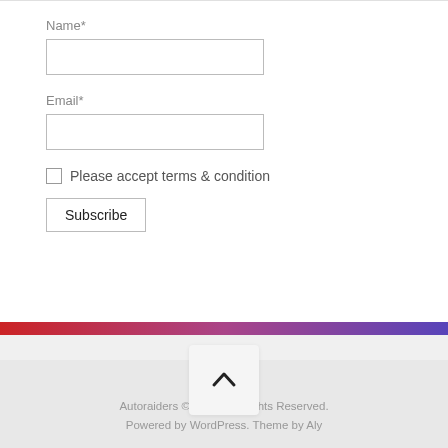Name*
Email*
Please accept terms & condition
Subscribe
[Figure (other): Gradient decorative bar curving from red on the left to purple on the right, with a white rounded card above it]
[Figure (other): Back to top button with upward chevron arrow icon]
Autoraiders © 2022. All Rights Reserved.
Powered by WordPress. Theme by Aly